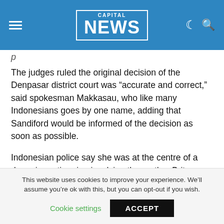CAPITAL NEWS
The judges ruled the original decision of the Denpasar district court was “accurate and correct,” said spokesman Makkasau, who like many Indonesians goes by one name, adding that Sandiford would be informed of the decision as soon as possible.
Indonesian police say she was at the centre of a drugs importing ring involving three other Britons after a drugs haul worth $2.4 million was found in her suitcase as she arrived on a flight from Bangkok last May.
This website uses cookies to improve your experience. We’ll assume you’re ok with this, but you can opt-out if you wish.
Cookie settings   ACCEPT